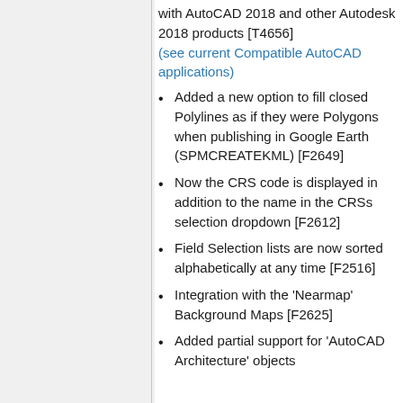with AutoCAD 2018 and other Autodesk 2018 products [T4656] (see current Compatible AutoCAD applications)
Added a new option to fill closed Polylines as if they were Polygons when publishing in Google Earth (SPMCREATEKML) [F2649]
Now the CRS code is displayed in addition to the name in the CRSs selection dropdown [F2612]
Field Selection lists are now sorted alphabetically at any time [F2516]
Integration with the 'Nearmap' Background Maps [F2625]
Added partial support for 'AutoCAD Architecture' objects